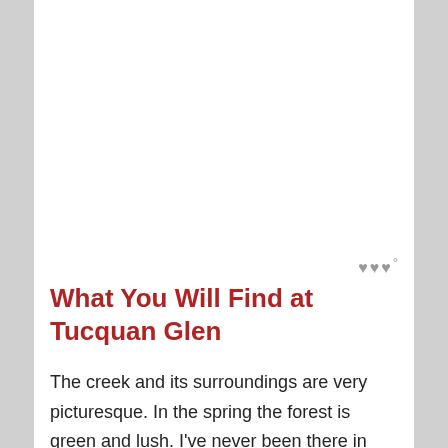What You Will Find at Tucquan Glen
The creek and its surroundings are very picturesque. In the spring the forest is green and lush. I've never been there in the fall, but I've seen photos that show it is also an excellent autumn location. It's definitely on